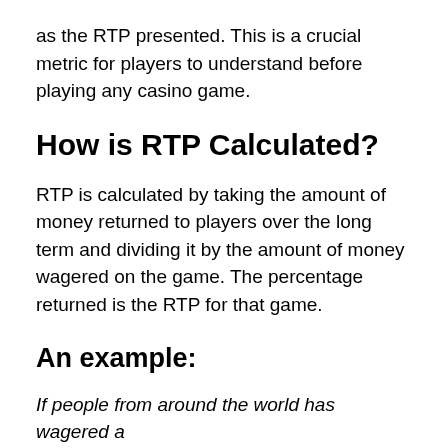as the RTP presented. This is a crucial metric for players to understand before playing any casino game.
How is RTP Calculated?
RTP is calculated by taking the amount of money returned to players over the long term and dividing it by the amount of money wagered on the game. The percentage returned is the RTP for that game.
An example:
If people from around the world has wagered a